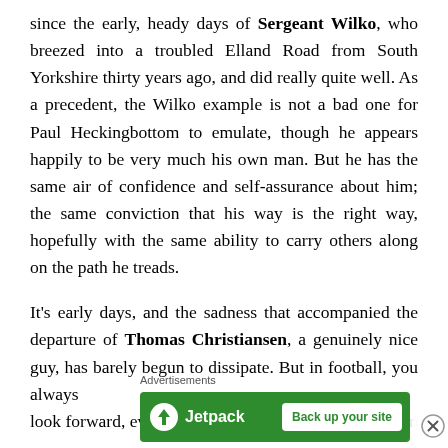since the early, heady days of Sergeant Wilko, who breezed into a troubled Elland Road from South Yorkshire thirty years ago, and did really quite well. As a precedent, the Wilko example is not a bad one for Paul Heckingbottom to emulate, though he appears happily to be very much his own man. But he has the same air of confidence and self-assurance about him; the same conviction that his way is the right way, hopefully with the same ability to carry others along on the path he treads.
It's early days, and the sadness that accompanied the departure of Thomas Christiansen, a genuinely nice guy, has barely begun to dissipate. But in football, you always look forward, even when making comparisons with form...
Advertisements
[Figure (other): Jetpack advertisement banner with logo and 'Back up your site' button on green background]